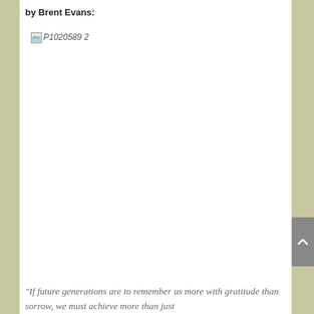by Brent Evans:
[Figure (photo): Broken image placeholder labeled 'P1020589 2' — a missing/unloaded photograph]
“If future generations are to remember us more with gratitude than sorrow, we must achieve more than just